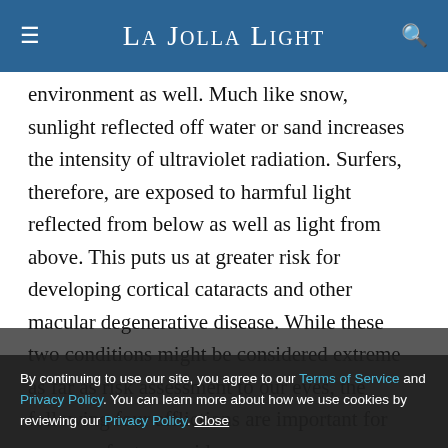La Jolla Light
environment as well. Much like snow, sunlight reflected off water or sand increases the intensity of ultraviolet radiation. Surfers, therefore, are exposed to harmful light reflected from below as well as light from above. This puts us at greater risk for developing cortical cataracts and other macular degenerative disease. While these two conditions might be considered extreme as far as risk assessment to our eyes, the following four afflictions are important for every surfer to consider:
1: Having recently been diagnosed with
By continuing to use our site, you agree to our Terms of Service and Privacy Policy. You can learn more about how we use cookies by reviewing our Privacy Policy. Close